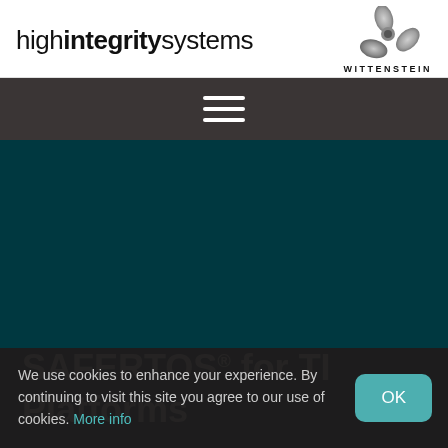[Figure (logo): High Integrity Systems logo text with bold 'integrity' portion, and Wittenstein trident logo with WITTENSTEIN text]
[Figure (other): Dark navigation bar with hamburger menu icon (three horizontal white lines)]
SAFERTOS® for TI Platforms
We use cookies to enhance your experience. By continuing to visit this site you agree to our use of cookies. More info
[Figure (other): OK button in teal color for cookie consent]